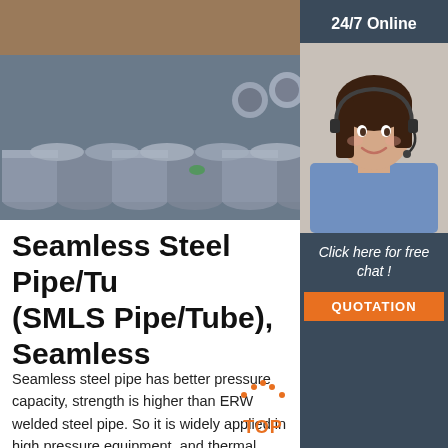[Figure (photo): Stacked seamless steel pipes/tubes photographed outdoors with soil in the background]
[Figure (photo): Customer service agent woman with headset smiling, 24/7 Online chat panel with dark blue-grey background, 'Click here for free chat!' text and orange QUOTATION button]
Seamless Steel Pipe/Tube (SMLS Pipe/Tube), Seamless
Seamless steel pipe has better pressure capacity, strength is higher than ERW welded steel pipe. So it is widely applied in high pressure equipment, and thermal, boiler industries. Generally the welding seam of the welded steel pipe is the weak point, the quality affect overall performance.